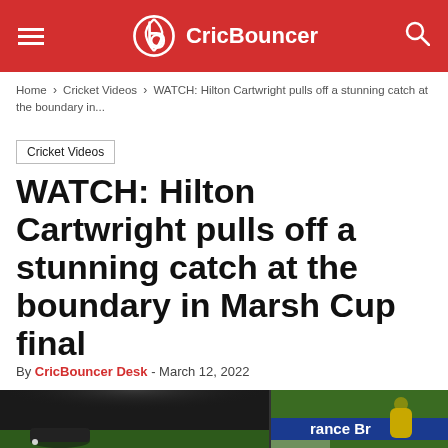CricBouncer
Home > Cricket Videos > WATCH: Hilton Cartwright pulls off a stunning catch at the boundary in...
Cricket Videos
WATCH: Hilton Cartwright pulls off a stunning catch at the boundary in Marsh Cup final
By CricBouncer Desk - March 12, 2022
[Figure (photo): Cricket fielder making a boundary catch at the Marsh Cup final, with 'rance Br' (insurance brand) and 'Ma' sponsor signage visible on the boundary board. Night game under floodlights, green outfield, player in yellow jersey.]